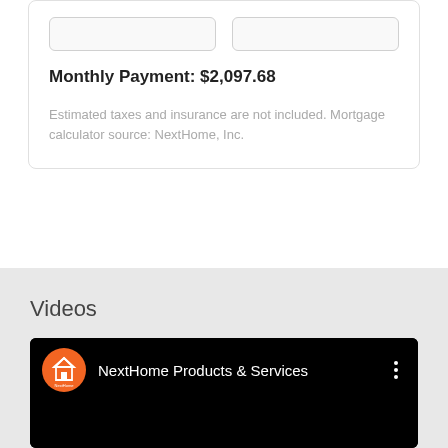Monthly Payment: $2,097.68
Estimated taxes and insurance are not included. Mortgage calculator source: NextHome, Inc.
Videos
[Figure (screenshot): NextHome Products & Services YouTube video thumbnail with orange NextHome logo circle and black background]